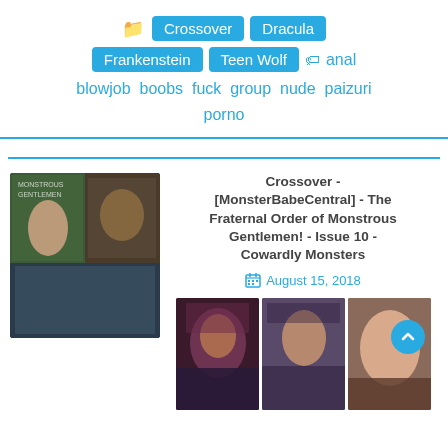Crossover  Dracula  Frankenstein  Teen Wolf  anal blowjob boobs fuck group nude paizuri porno
Crossover - [MonsterBabeCentral] - The Fraternal Order of Monstrous Gentlemen! - Issue 10 - Cowardly Monsters
August 15, 2018
[Figure (illustration): Comic book page thumbnails showing animated monster-themed adult comic characters]
[Figure (illustration): Three preview thumbnails of comic pages]
[Figure (illustration): Scroll-to-top button overlay on third thumbnail]